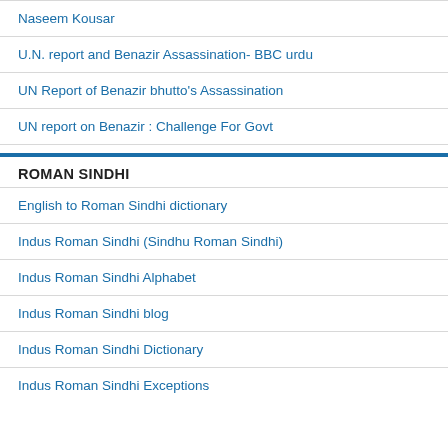Naseem Kousar
U.N. report and Benazir Assassination- BBC urdu
UN Report of Benazir bhutto's Assassination
UN report on Benazir : Challenge For Govt
ROMAN SINDHI
English to Roman Sindhi dictionary
Indus Roman Sindhi (Sindhu Roman Sindhi)
Indus Roman Sindhi Alphabet
Indus Roman Sindhi blog
Indus Roman Sindhi Dictionary
Indus Roman Sindhi Exceptions